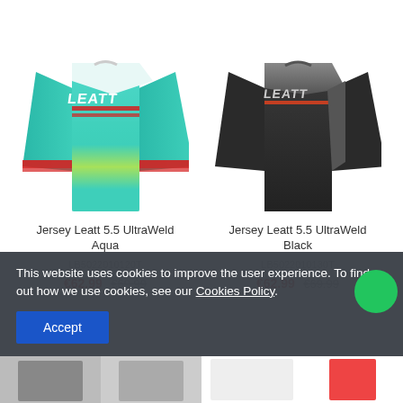[Figure (photo): Jersey Leatt 5.5 UltraWeld Aqua – teal/green long-sleeve motocross jersey with red/yellow stripes and LEATT logo]
Jersey Leatt 5.5 UltraWeld Aqua
LB5022010120T
€62.99 €69.99
[Figure (photo): Jersey Leatt 5.5 UltraWeld Black – black/dark grey long-sleeve motocross jersey with LEATT logo]
Jersey Leatt 5.5 UltraWeld Black
LB5022010130T
€62.99 €69.99
This website uses cookies to improve the user experience. To find out how we use cookies, see our Cookies Policy.
Accept